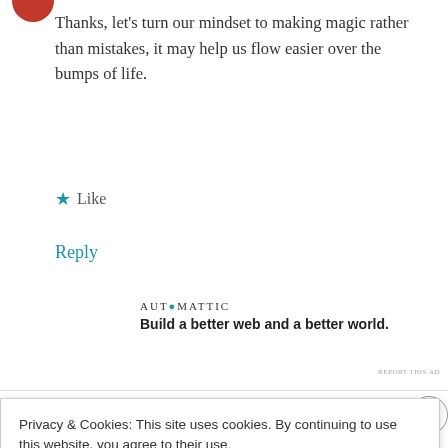Thanks, let’s turn our mindset to making magic rather than mistakes, it may help us flow easier over the bumps of life.
★ Like
Reply
[Figure (logo): Automattic logo with text: AUTOMATTIC and tagline ‘Build a better web and a better world.’]
REPORT THIS AD
Privacy & Cookies: This site uses cookies. By continuing to use this website, you agree to their use.
To find out more, including how to control cookies, see here: Cookie Policy
Close and accept